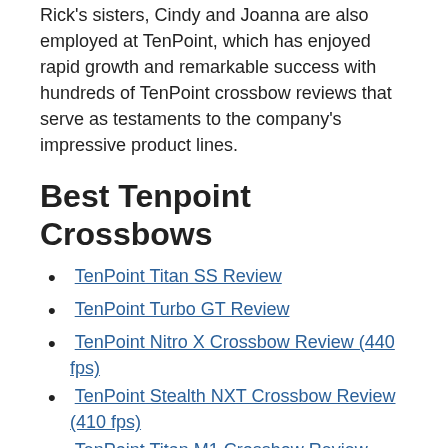Rick's sisters, Cindy and Joanna are also employed at TenPoint, which has enjoyed rapid growth and remarkable success with hundreds of TenPoint crossbow reviews that serve as testaments to the company's impressive product lines.
Best Tenpoint Crossbows
TenPoint Titan SS Review
TenPoint Turbo GT Review
TenPoint Nitro X Crossbow Review (440 fps)
TenPoint Stealth NXT Crossbow Review (410 fps)
TenPoint Titan M1 Crossbow Review (370 fps)
TenPoint Vapor RS470 Crossbow Review (470 fps)
Tenpoint Wicked Ridge Invader X4 Crossbow Review (360 fps)
TenPoint XR-410 Crossbow Review (410 fps)
TenPoint Nitro XRT Crossbow Review (470 fps)
TenPoint Carbon Nitro RDX Crossbow Review (385 fps)